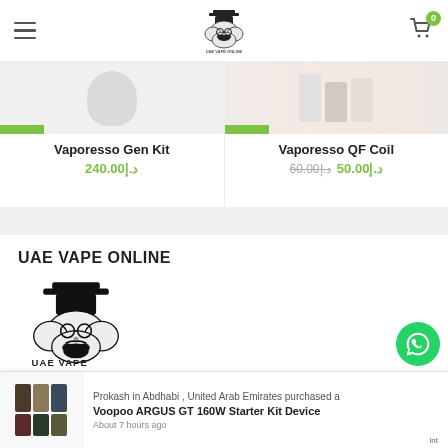UAE VAPE ONLINE — Navigation header with logo and cart
Vaporesso Gen Kit
240.00د.إ
Vaporesso QF Coil
60.00د.إ  50.00د.إ
UAE VAPE ONLINE
[Figure (logo): UAE Vape Online logo — illustrated bearded man with top hat made of smoke clouds, with text UAE VAPE ONLINE below]
Prokash in Abdhabi , United Arab Emirates purchased a
Voopoo ARGUS GT 160W Starter Kit Device
About 7 hours ago
[Figure (photo): Product thumbnail image showing Voopoo ARGUS GT 160W Starter Kit Device in multiple colors]
int